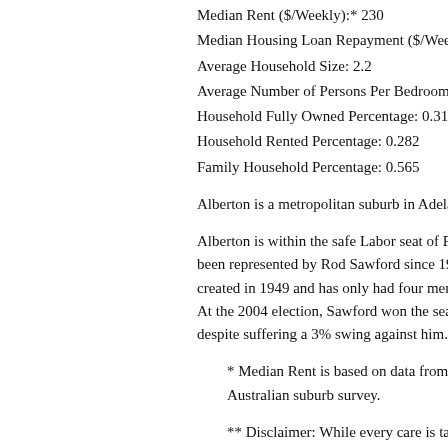Median Rent ($/Weekly):* 230
Median Housing Loan Repayment ($/Weekly):
Average Household Size: 2.2
Average Number of Persons Per Bedroom: 1.1
Household Fully Owned Percentage: 0.315
Household Rented Percentage: 0.282
Family Household Percentage: 0.565
Alberton is a metropolitan suburb in Adelaide,
Alberton is within the safe Labor seat of Port A… been represented by Rod Sawford since 1988. … created in 1949 and has only had four member… At the 2004 election, Sawford won the seat by… despite suffering a 3% swing against him. (Sou…
* Median Rent is based on data from the Australian suburb survey.
** Disclaimer: While every care is taken accuracy of the data, This site does not re… the accuracy, reliability, completeness or…